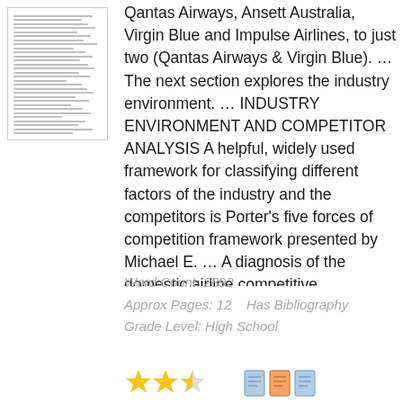[Figure (other): Thumbnail preview of a document page showing lines of small text]
Qantas Airways, Ansett Australia, Virgin Blue and Impulse Airlines, to just two (Qantas Airways & Virgin Blue). … The next section explores the industry environment. … INDUSTRY ENVIRONMENT AND COMPETITOR ANALYSIS A helpful, widely used framework for classifying different factors of the industry and the competitors is Porter's five forces of competition framework presented by Michael E. … A diagnosis of the domestic airline competitive environment is il…
Word Count: 2892
Approx Pages: 12    Has Bibliography
Grade Level: High School
[Figure (other): Star rating icons and document/report icons at the bottom of the page]